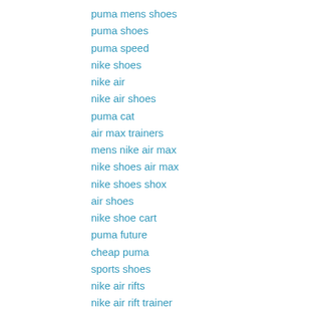puma mens shoes
puma shoes
puma speed
nike shoes
nike air
nike air shoes
puma cat
air max trainers
mens nike air max
nike shoes air max
nike shoes shox
air shoes
nike shoe cart
puma future
cheap puma
sports shoes
nike air rifts
nike air rift trainer
nike air
nike rift
nike rift shoes
cheap nike air rifts